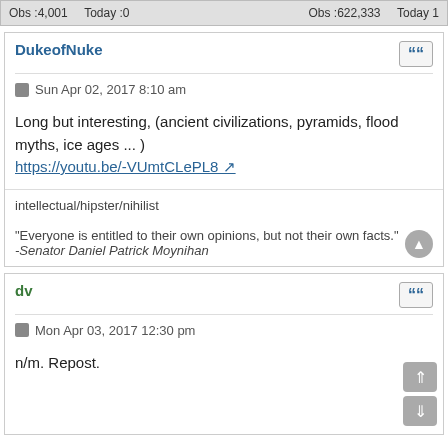Obs :4,001   Today :0   Obs :622,333   Today 1
DukeofNuke
Sun Apr 02, 2017 8:10 am
Long but interesting, (ancient civilizations, pyramids, flood myths, ice ages ... )
https://youtu.be/-VUmtCLePL8
intellectual/hipster/nihilist

"Everyone is entitled to their own opinions, but not their own facts."
-Senator Daniel Patrick Moynihan
dv
Mon Apr 03, 2017 12:30 pm
n/m. Repost.